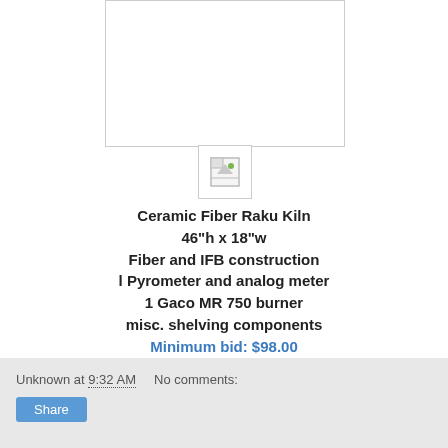[Figure (photo): Blank white image placeholder area for a Ceramic Fiber Raku Kiln listing photo]
[Figure (other): Broken image icon — small page icon with a leaf/image symbol]
Ceramic Fiber Raku Kiln
46"h x 18"w
Fiber and IFB construction
l Pyrometer and analog meter
1 Gaco MR 750 burner
misc. shelving components
Minimum bid: $98.00
Unknown at 9:32 AM   No comments:
Share